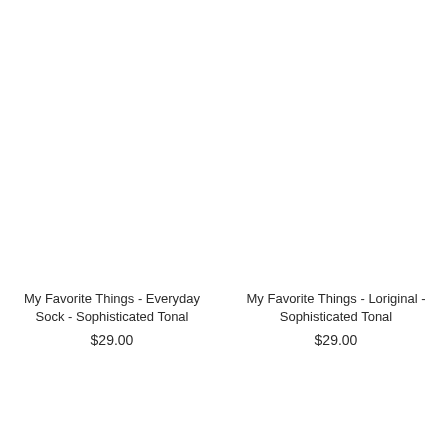My Favorite Things - Everyday Sock - Sophisticated Tonal
$29.00
My Favorite Things - Loriginal - Sophisticated Tonal
$29.00